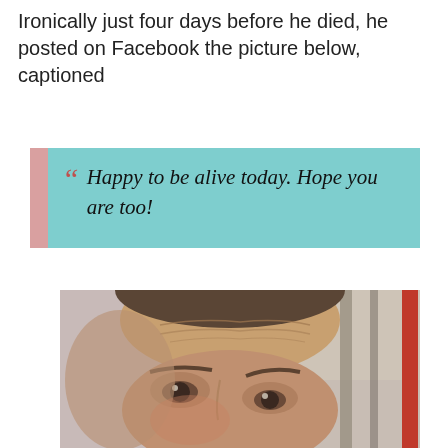Ironically just four days before he died, he posted on Facebook the picture below, captioned
““ Happy to be alive today. Hope you are too!
[Figure (photo): Close-up selfie photo of a middle-aged man looking upward with wide eyes, cropped to show forehead and eyes, with a red strip on the right side]